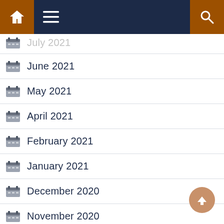Navigation bar with home, menu, and search icons
July 2021
June 2021
May 2021
April 2021
February 2021
January 2021
December 2020
November 2020
October 2020
September 2020